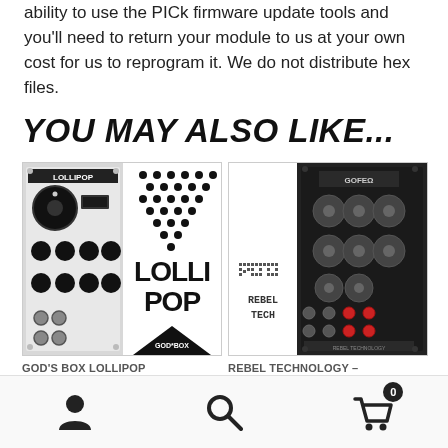ability to use the PICk firmware update tools and you'll need to return your module to us at your own cost for us to reprogram it. We do not distribute hex files.
YOU MAY ALSO LIKE...
[Figure (photo): God's Box Lollipop Eurorack module product photo showing module hardware on left and promotional graphic with 'LOLLI POP' text and GOD'S BOX logo on right]
[Figure (photo): Rebel Technology Eurorack module product photo showing module hardware with knobs and patch points next to Rebel Tech branding]
GOD'S BOX LOLLIPOP
REBEL TECHNOLOGY –
Navigation icons: user account, search, shopping cart (0)